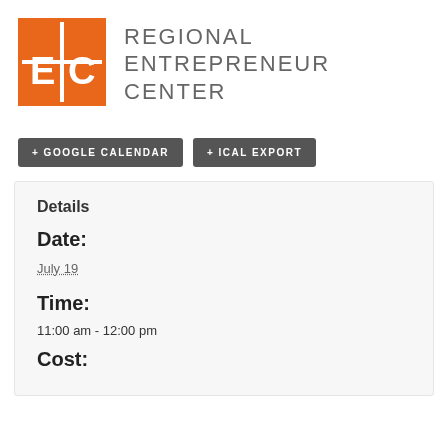[Figure (logo): Regional Entrepreneur Center logo: orange square with white E + C letters and a cross/plus symbol, next to text 'REGIONAL ENTREPRENEUR CENTER' in gray uppercase letters]
+ GOOGLE CALENDAR
+ ICAL EXPORT
Details
Date:
July 19
Time:
11:00 am - 12:00 pm
Cost: